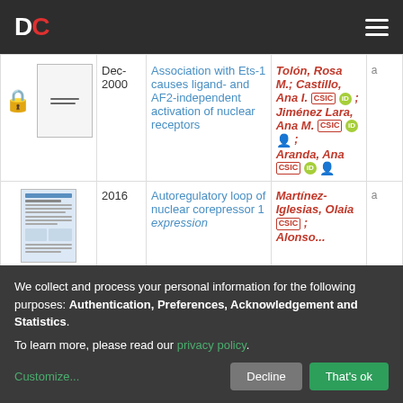DC (logo) — navigation header
| thumbnail | date | title | authors | extra |
| --- | --- | --- | --- | --- |
| [lock icon + blank thumbnail] | Dec-2000 | Association with Ets-1 causes ligand- and AF2-independent activation of nuclear receptors | Tolón, Rosa M.; Castillo, Ana I. [CSIC][iD]; Jiménez Lara, Ana M. [CSIC][iD][person]; Aranda, Ana [CSIC][iD][person] | a |
| [paper thumbnail] | 2016 | Autoregulatory loop of nuclear corepressor 1 expression | Martínez-Iglesias, Olaia [CSIC]; Alonso... | a |
We collect and process your personal information for the following purposes: Authentication, Preferences, Acknowledgement and Statistics. To learn more, please read our privacy policy.
Customize... | Decline | That's ok